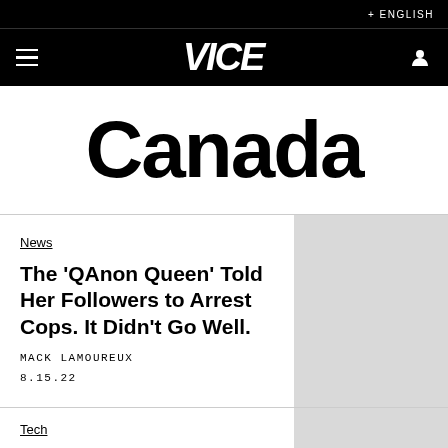+ ENGLISH
[Figure (logo): VICE logo in white italic bold text on black background with hamburger menu and user icon]
Canada
News
The ‘QAnon Queen’ Told Her Followers to Arrest Cops. It Didn’t Go Well.
MACK LAMOUREUX
8.15.22
Tech